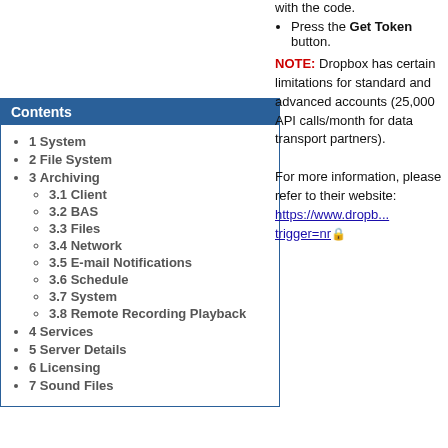with the code.
Press the Get Token button.
Contents
1 System
2 File System
3 Archiving
3.1 Client
3.2 BAS
3.3 Files
3.4 Network
3.5 E-mail Notifications
3.6 Schedule
3.7 System
3.8 Remote Recording Playback
4 Services
5 Server Details
6 Licensing
7 Sound Files
NOTE: Dropbox has certain limitations for standard and advanced accounts (25,000 API calls/month for data transport partners). For more information, please refer to their website: https://www.dropbox trigger=nr🔒